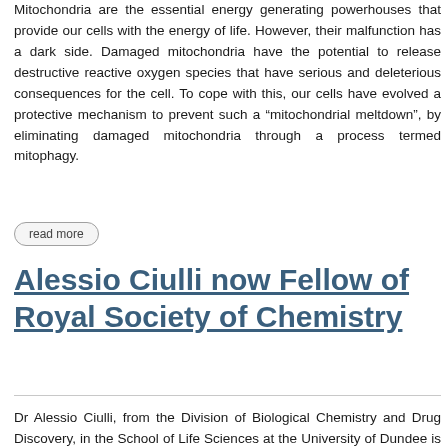Mitochondria are the essential energy generating powerhouses that provide our cells with the energy of life. However, their malfunction has a dark side. Damaged mitochondria have the potential to release destructive reactive oxygen species that have serious and deleterious consequences for the cell. To cope with this, our cells have evolved a protective mechanism to prevent such a “mitochondrial meltdown”, by eliminating damaged mitochondria through a process termed mitophagy.
read more
Alessio Ciulli now Fellow of Royal Society of Chemistry
Dr Alessio Ciulli, from the Division of Biological Chemistry and Drug Discovery, in the School of Life Sciences at the University of Dundee is now a fellow of the Royal Society of Chemistry